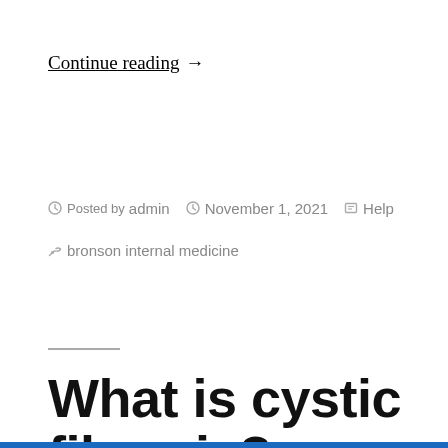Continue reading →
Posted by admin   November 1, 2021   Help   bronson internal medicine
What is cystic fibrosis?